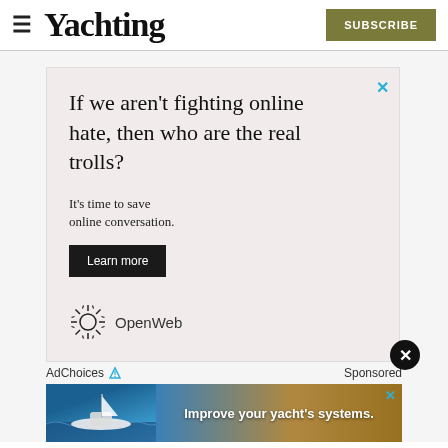Yachting
[Figure (infographic): Advertisement: 'If we aren't fighting online hate, then who are the real trolls? It's time to save online conversation. Learn more. OpenWeb logo.' AdChoices / Sponsored label below.]
[Figure (photo): Banner advertisement showing a yacht at sea with text 'Improve your yacht's systems.']
Conversation